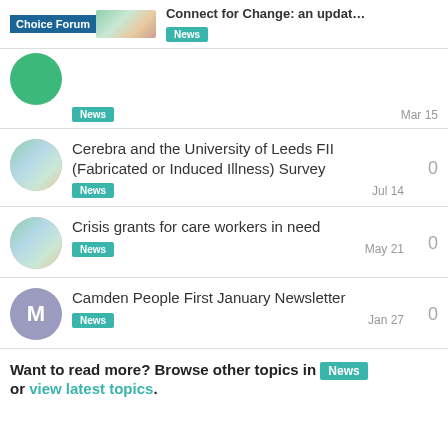Connect for Change: an updat... | Choice Forum | News
[partial item] News | Mar 15
Cerebra and the University of Leeds FII (Fabricated or Induced Illness) Survey | News | Jul 14 | 0
Crisis grants for care workers in need | News | May 21 | 0
Camden People First January Newsletter | News | Jan 27 | 0
Want to read more? Browse other topics in News or view latest topics.